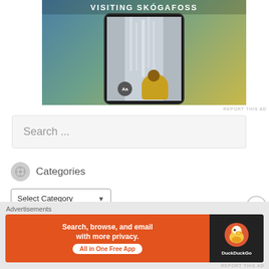[Figure (screenshot): Advertisement banner for 'Visiting Skogafoss' showing a phone screen with a waterfall and a person in a yellow jacket looking up, against a gradient blue-green-yellow background]
REPORT THIS AD
Search ...
Categories
Select Category
Advertisements
[Figure (screenshot): DuckDuckGo advertisement: 'Search, browse, and email with more privacy. All in One Free App' on orange background with DuckDuckGo duck logo on dark background]